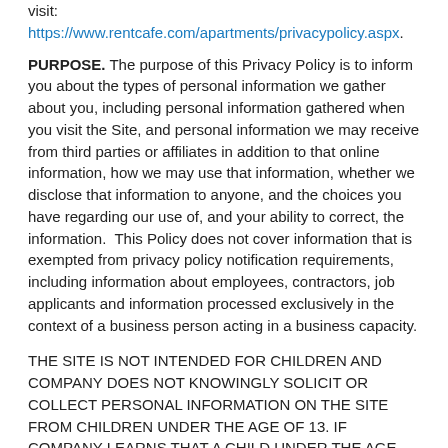visit: https://www.rentcafe.com/apartments/privacypolicy.aspx.
PURPOSE. The purpose of this Privacy Policy is to inform you about the types of personal information we gather about you, including personal information gathered when you visit the Site, and personal information we may receive from third parties or affiliates in addition to that online information, how we may use that information, whether we disclose that information to anyone, and the choices you have regarding our use of, and your ability to correct, the information.  This Policy does not cover information that is exempted from privacy policy notification requirements, including information about employees, contractors, job applicants and information processed exclusively in the context of a business person acting in a business capacity.
THE SITE IS NOT INTENDED FOR CHILDREN AND COMPANY DOES NOT KNOWINGLY SOLICIT OR COLLECT PERSONAL INFORMATION ON THE SITE FROM CHILDREN UNDER THE AGE OF 13. IF COMPANY LEARNS THAT A CHILD UNDER THE AGE OF 13 HAS SUBMITTED PERSONALLY IDENTIFIABLE INFORMATION TO COMPANY THROUGH THE SITE, IT WILL TAKE REASONABLE MEASURES TO DELETE SUCH INFORMATION FROM ITS RECORDS AND TO NOT USE SUCH INFORMATION FOR ANY PURPOSE (EXCEPT WHERE